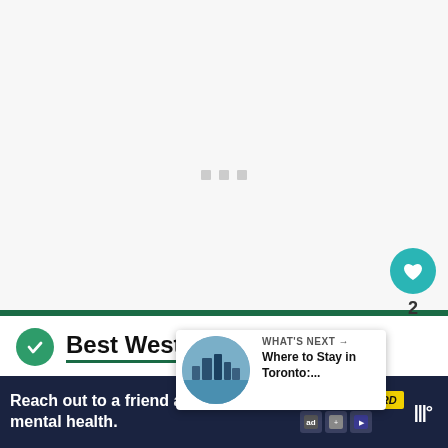[Figure (screenshot): White/light gray loading area with three small gray square dots centered, indicating a loading state.]
Best Western Plus Cairn Croft
Hotel: This three-star hotel is near
[Figure (infographic): What's Next panel with a circular city aerial photo thumbnail and text 'WHAT'S NEXT → Where to Stay in Toronto:...']
[Figure (screenshot): Advertisement bar: 'Reach out to a friend about their mental health.' with SEIZE THE AWKWARD badge and icons.]